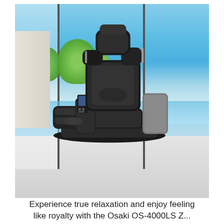[Figure (photo): A black leather massage chair (recliner style with footrest) positioned in a modern room with large floor-to-ceiling windows showing trees and blue sky/water in the background. The chair has gray side panels and a remote control on the left armrest. The floor is white/light gray.]
Experience true relaxation and enjoy feeling like royalty with the Osaki OS-4000LS Z...